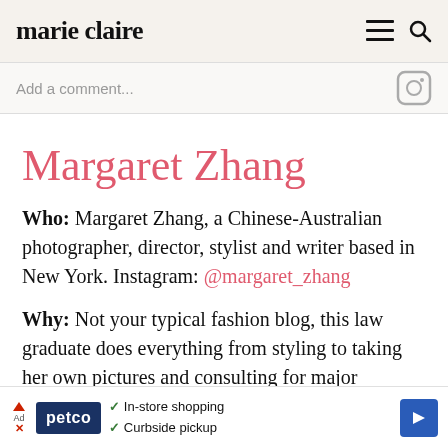marie claire
Add a comment...
Margaret Zhang
Who: Margaret Zhang, a Chinese-Australian photographer, director, stylist and writer based in New York. Instagram: @margaret_zhang
Why: Not your typical fashion blog, this law graduate does everything from styling to taking her own pictures and consulting for major
[Figure (other): Petco advertisement banner with in-store shopping and curbside pickup checkmarks]